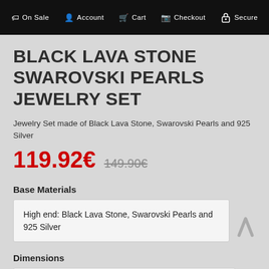On Sale  Account  Cart  Checkout  Secure
BLACK LAVA STONE SWAROVSKI PEARLS JEWELRY SET
Jewelry Set made of Black Lava Stone, Swarovski Pearls and 925 Silver
119.92€  149.90€
Base Materials
High end: Black Lava Stone, Swarovski Pearls and 925 Silver
Dimensions